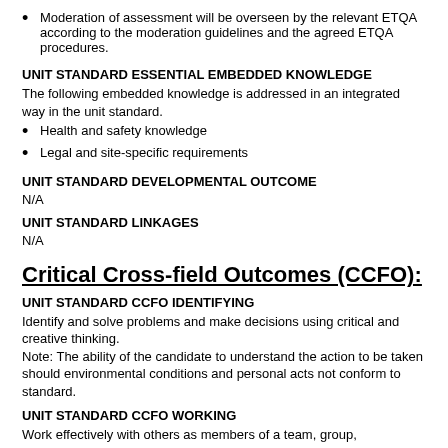Moderation of assessment will be overseen by the relevant ETQA according to the moderation guidelines and the agreed ETQA procedures.
UNIT STANDARD ESSENTIAL EMBEDDED KNOWLEDGE
The following embedded knowledge is addressed in an integrated way in the unit standard.
Health and safety knowledge
Legal and site-specific requirements
UNIT STANDARD DEVELOPMENTAL OUTCOME
N/A
UNIT STANDARD LINKAGES
N/A
Critical Cross-field Outcomes (CCFO):
UNIT STANDARD CCFO IDENTIFYING
Identify and solve problems and make decisions using critical and creative thinking.
Note: The ability of the candidate to understand the action to be taken should environmental conditions and personal acts not conform to standard.
UNIT STANDARD CCFO WORKING
Work effectively with others as members of a team, group, organisation or